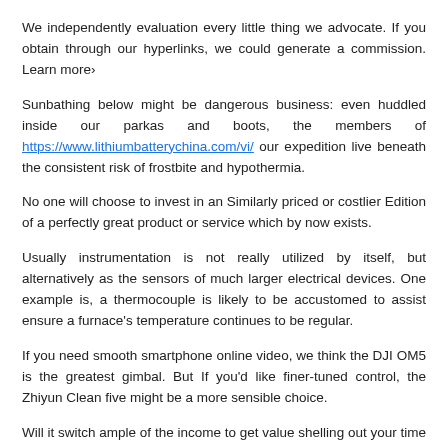We independently evaluation every little thing we advocate. If you obtain through our hyperlinks, we could generate a commission. Learn more›
Sunbathing below might be dangerous business: even huddled inside our parkas and boots, the members of https://www.lithiumbatterychina.com/vi/ our expedition live beneath the consistent risk of frostbite and hypothermia.
No one will choose to invest in an Similarly priced or costlier Edition of a perfectly great product or service which by now exists.
Usually instrumentation is not really utilized by itself, but alternatively as the sensors of much larger electrical devices. One example is, a thermocouple is likely to be accustomed to assist ensure a furnace's temperature continues to be regular.
If you need smooth smartphone online video, we think the DJI OM5 is the greatest gimbal. But If you'd like finer-tuned control, the Zhiyun Clean five might be a more sensible choice.
Will it switch ample of the income to get value shelling out your time and efforts to get it done? You will also must ensure that it is feasible to put into action.[2] X Expert Source